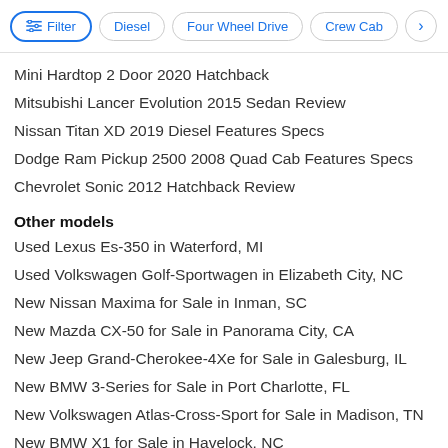[Figure (screenshot): Filter bar with buttons: Filter, Diesel, Four Wheel Drive, Crew Cab, and a right arrow]
Mini Hardtop 2 Door 2020 Hatchback
Mitsubishi Lancer Evolution 2015 Sedan Review
Nissan Titan XD 2019 Diesel Features Specs
Dodge Ram Pickup 2500 2008 Quad Cab Features Specs
Chevrolet Sonic 2012 Hatchback Review
Other models
Used Lexus Es-350 in Waterford, MI
Used Volkswagen Golf-Sportwagen in Elizabeth City, NC
New Nissan Maxima for Sale in Inman, SC
New Mazda CX-50 for Sale in Panorama City, CA
New Jeep Grand-Cherokee-4Xe for Sale in Galesburg, IL
New BMW 3-Series for Sale in Port Charlotte, FL
New Volkswagen Atlas-Cross-Sport for Sale in Madison, TN
New BMW X1 for Sale in Havelock, NC
New Volkswagen Taos for Sale in Merritt Island, FL
Used Acura Ilx in Lakewood, CA